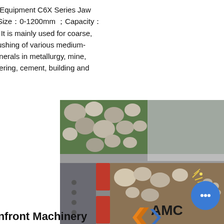ded Equipment C6X Series Jaw
out Size：0-1200mm ；Capacity：
H 1. It is mainly used for coarse,
e crushing of various medium-
d minerals in metallurgy, mine,
gineering, cement, building and
[Figure (photo): Cross-section cutaway illustration of a C6X Series Jaw Crusher showing rocks and aggregate being crushed, with red jaw plates visible, AMC logo overlay, and a blue chat button widget in the lower right corner.]
g Infront Machinery